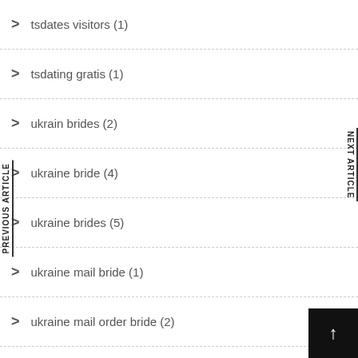tsdates visitors (1)
tsdating gratis (1)
ukrain brides (2)
ukraine bride (4)
ukraine brides (5)
ukraine mail bride (1)
ukraine mail order bride (2)
ukrainian bride documentary (1)